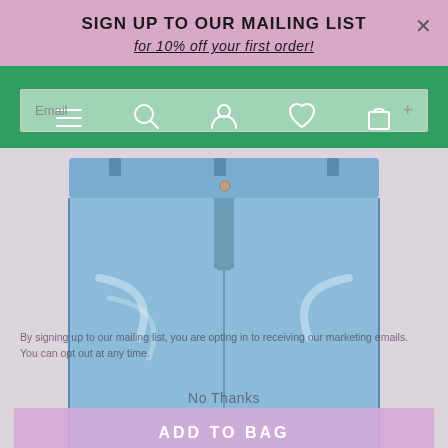GLASS ONION
SIGN UP TO OUR MAILING LIST
for 10% off your first order!
[Figure (photo): Photo of blue denim jeans, showing waistband and upper legs, light wash with natural fading]
Email
By signing up to our mailing list, you are opting in to receiving our marketing emails. You can opt out at any time.
No Thanks
ADD TO BAG